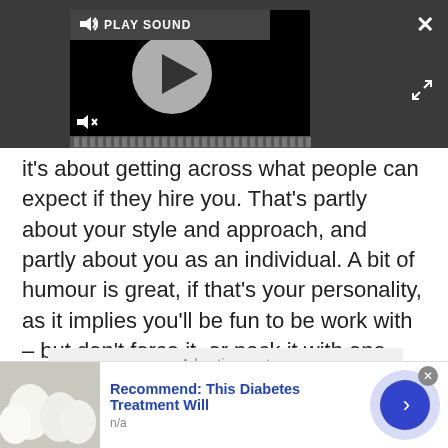[Figure (screenshot): Video player overlay with play button, PLAY SOUND label, mute icon, progress bar, close button (X) and expand button on dark grey background]
it's about getting across what people can expect if they hire you. That's partly about your style and approach, and partly about you as an individual. A bit of humour is great, if that's your personality, as it implies you'll be fun to be work with – but don't force it, or pack it with one-liners. They're hiring a designer, not a comedian.
Advertisement
[Figure (infographic): Bottom banner advertisement: image of white eggs on left, blue bold text 'Recommend: This Diabetes Treatment Will', subtext 'n/a', circular arrow button on right]